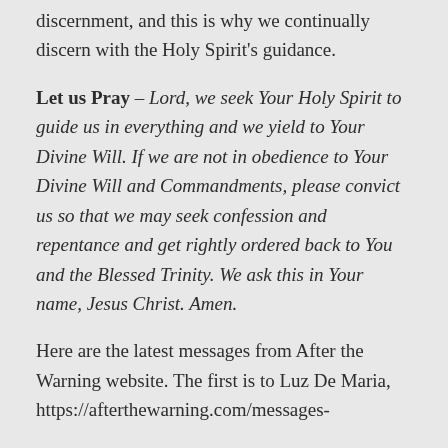discernment, and this is why we continually discern with the Holy Spirit's guidance.
Let us Pray – Lord, we seek Your Holy Spirit to guide us in everything and we yield to Your Divine Will. If we are not in obedience to Your Divine Will and Commandments, please convict us so that we may seek confession and repentance and get rightly ordered back to You and the Blessed Trinity. We ask this in Your name, Jesus Christ. Amen.
Here are the latest messages from After the Warning website. The first is to Luz De Maria, https://afterthewarning.com/messages-